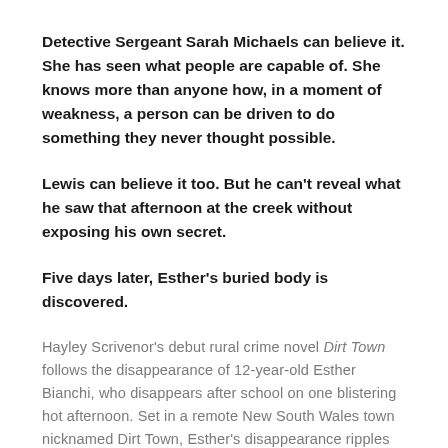Detective Sergeant Sarah Michaels can believe it. She has seen what people are capable of. She knows more than anyone how, in a moment of weakness, a person can be driven to do something they never thought possible.
Lewis can believe it too. But he can't reveal what he saw that afternoon at the creek without exposing his own secret.
Five days later, Esther's buried body is discovered.
Hayley Scrivenor's debut rural crime novel Dirt Town follows the disappearance of 12-year-old Esther Bianchi, who disappears after school on one blistering hot afternoon. Set in a remote New South Wales town nicknamed Dirt Town, Esther's disappearance ripples through the small town. This close-knit community